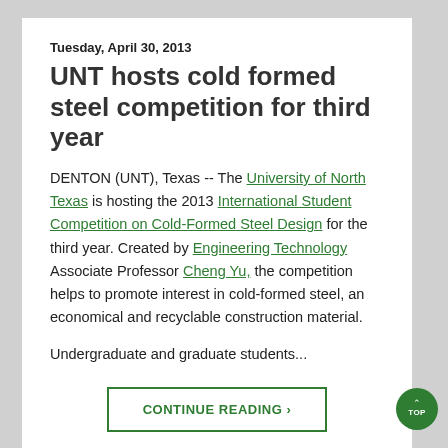Tuesday, April 30, 2013
UNT hosts cold formed steel competition for third year
DENTON (UNT), Texas -- The University of North Texas is hosting the 2013 International Student Competition on Cold-Formed Steel Design for the third year. Created by Engineering Technology Associate Professor Cheng Yu, the competition helps to promote interest in cold-formed steel, an economical and recyclable construction material.
Undergraduate and graduate students...
CONTINUE READING >